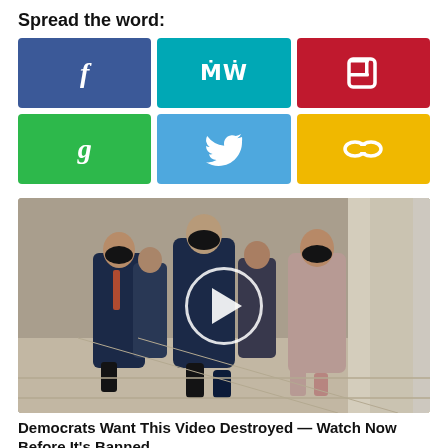Spread the word:
[Figure (infographic): Six social sharing buttons in a 3x2 grid: Facebook (dark blue, f), MeWe (teal, MW), Parler (dark red, P logo), Gettr (green, g), Twitter (light blue, bird icon), Copy link (yellow, chain links icon)]
[Figure (photo): Photo of Joe Biden and Kamala Harris walking together in a corridor, both wearing black face masks, with other suited individuals behind them. A white circular play button is overlaid on the center of the image.]
Democrats Want This Video Destroyed — Watch Now Before It's Banned